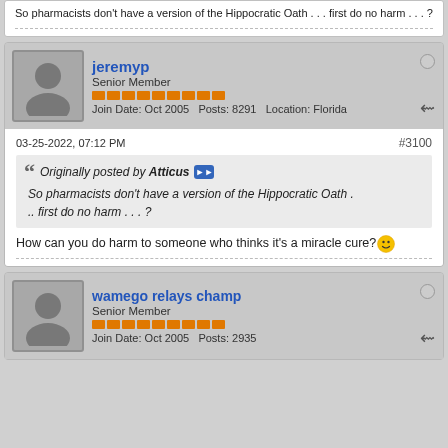So pharmacists don't have a version of the Hippocratic Oath . . . first do no harm . . . ?
jeremyp
Senior Member
Join Date: Oct 2005  Posts: 8291  Location: Florida
03-25-2022, 07:12 PM  #3100
Originally posted by Atticus
So pharmacists don't have a version of the Hippocratic Oath ... first do no harm . . . ?
How can you do harm to someone who thinks it's a miracle cure?
wamego relays champ
Senior Member
Join Date: Oct 2005  Posts: 2935